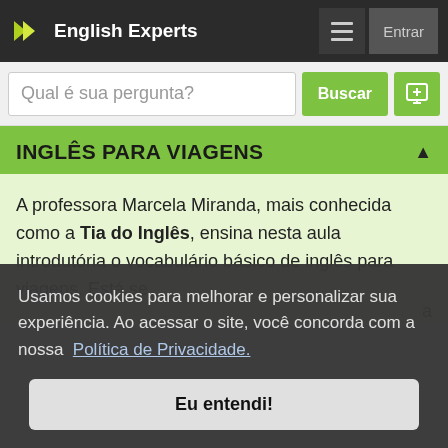English Experts
Qual é sua pergunta?
INGLÊS PARA VIAGENS
A professora Marcela Miranda, mais conhecida como a Tia do Inglês, ensina nesta aula introdutória o vocabulário básico de inglês para viagens. Está se
Usamos cookies para melhorar e personalizar sua experiência. Ao acessar o site, você concorda com a nossa Política de Privacidade.
Eu entendi!